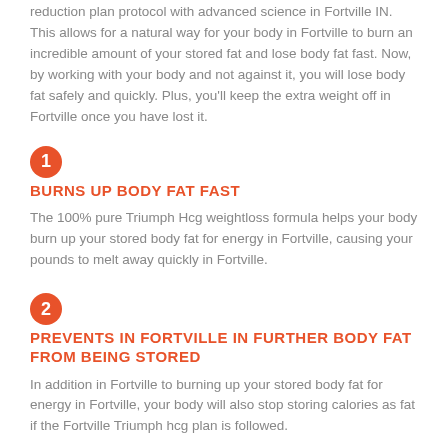reduction plan protocol with advanced science in Fortville IN. This allows for a natural way for your body in Fortville to burn an incredible amount of your stored fat and lose body fat fast. Now, by working with your body and not against it, you will lose body fat safely and quickly. Plus, you'll keep the extra weight off in Fortville once you have lost it.
1 BURNS UP BODY FAT FAST
The 100% pure Triumph Hcg weightloss formula helps your body burn up your stored body fat for energy in Fortville, causing your pounds to melt away quickly in Fortville.
2 PREVENTS IN FORTVILLE IN FURTHER BODY FAT FROM BEING STORED
In addition in Fortville to burning up your stored body fat for energy in Fortville, your body will also stop storing calories as fat if the Fortville Triumph hcg plan is followed.
3 APPETITE SUPPRESSION
Intense food cravings are the number one reason most